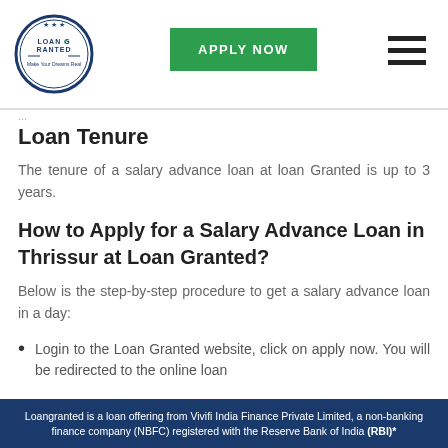[Figure (logo): Loan Granted circular logo with checkmark and tagline 'Make Your Dreams Real']
Loan Tenure
The tenure of a salary advance loan at loan Granted is up to 3 years.
How to Apply for a Salary Advance Loan in Thrissur at Loan Granted?
Below is the step-by-step procedure to get a salary advance loan in a day:
Login to the Loan Granted website, click on apply now. You will be redirected to the online loan
Loangranted is a loan offering from Vivifi India Finance Private Limited, a non-banking finance company (NBFC) registered with the Reserve Bank of India (RBI)*